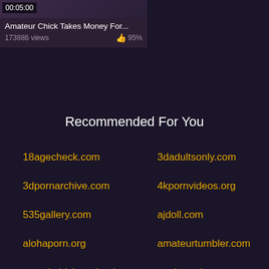[Figure (screenshot): Video thumbnail card showing timer 00:05:00, title 'Amateur Chick Takes Money For...', 173886 views, 95% likes]
Recommended For You
18agecheck.com
3dadultsonly.com
3dpornarchive.com
4kpornvideos.org
535gallery.com
ajdoll.com
alohaporn.org
amateurtumbler.com
anatolsdrivingschool.com
apnitoysshop.com
artofvrporn.com
asianpornguide.com